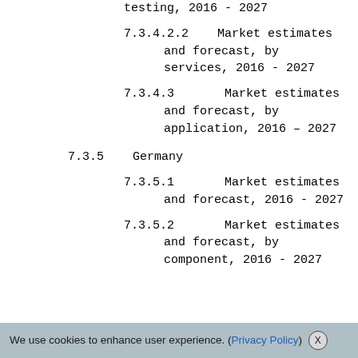testing, 2016 - 2027
7.3.4.2.2    Market estimates and forecast, by services, 2016 - 2027
7.3.4.3      Market estimates and forecast, by application, 2016 - 2027
7.3.5   Germany
7.3.5.1      Market estimates and forecast, 2016 - 2027
7.3.5.2      Market estimates and forecast, by component, 2016 - 2027
We use cookies to enhance user experience. (Privacy Policy) X